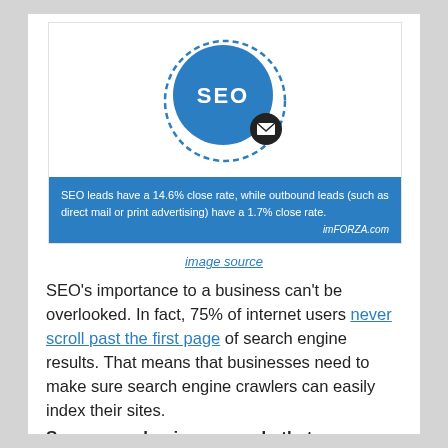[Figure (infographic): SEO infographic with a blue dashed-border circle containing a solid blue circle with 'SEO' in white bold text, a small dark circle with envelope icon, and a blue box below with text: 'SEO leads have a 14.6% close rate, while outbound leads (such as direct mail or print advertising) have a 1.7% close rate.' with imFORZA.com credit.]
image source
SEO's importance to a business can't be overlooked. In fact, 75% of internet users never scroll past the first page of search engine results. That means that businesses need to make sure search engine crawlers can easily index their sites.
Some ways business can do that include: